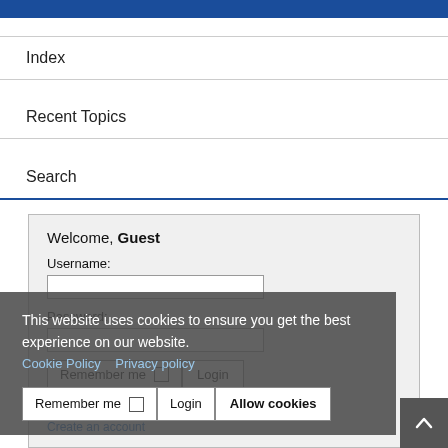Index
Recent Topics
Search
Welcome, Guest
Username:
Password:
Remember me  Login
Forgot your password?  Forgot your username?  Create an account
This website uses cookies to ensure you get the best experience on our website.
Cookie Policy   Privacy policy
Allow cookies